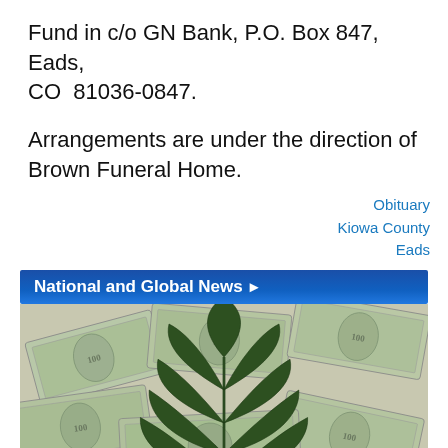Fund in c/o GN Bank, P.O. Box 847, Eads, CO  81036-0847.
Arrangements are under the direction of Brown Funeral Home.
Obituary
Kiowa County
Eads
National and Global News ▶
[Figure (photo): Photo of a cannabis/marijuana leaf resting on top of scattered US hundred dollar bills]